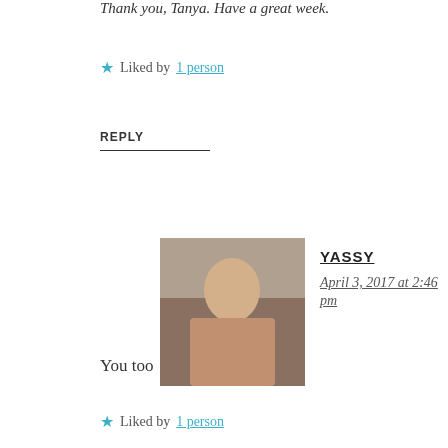Thank you, Tanya. Have a great week.
★ Liked by 1person
REPLY
[Figure (photo): Avatar photo of Yassy — woman sitting outdoors]
YASSY
April 3, 2017 at 2:46 pm
You too
★ Liked by 1person
[Figure (photo): Avatar photo of Tanya Cliff — woman with dark hair]
TANYA CLIFF
April 3, 2017 at 2:57 pm